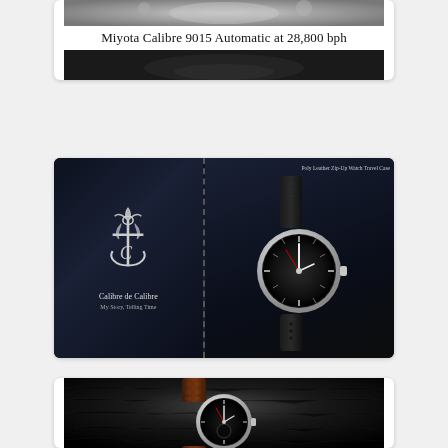[Figure (photo): Partial view of a watch movement (top) and dark background (bottom) with caption text 'Miyota Calibre 9015 Automatic at 28,800 bph' in the middle.]
Miyota Calibre 9015 Automatic at 28,800 bph
[Figure (photo): Two-panel product image: left panel shows a brand logo (anchor with decorative cross design) with 'Calibre de Calibre' branding on dark blue stitched leather background; right panel shows a watch with dark dial and leather strap with text 'Poly Leather Zip-Up Watch Travel Case' at top right.]
[Figure (photo): Close-up photo of a watch with silver case and brown alligator-style leather strap on a dark fur background.]